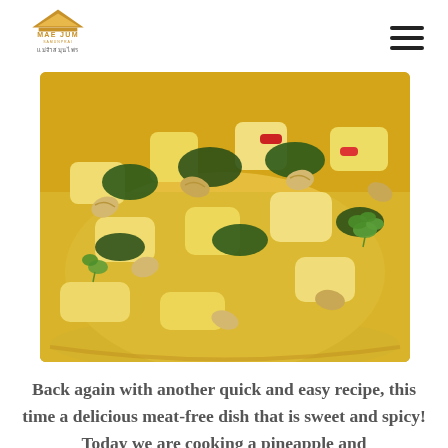MAE JUM SAMUNPRAI
[Figure (photo): Close-up photo of a curry dish in a yellow bowl containing pineapple chunks, cashew nuts, dark leafy greens (kale), red pepper pieces, and coriander garnish in a golden coconut milk curry sauce.]
Back again with another quick and easy recipe, this time a delicious meat-free dish that is sweet and spicy! Today we are cooking a pineapple and